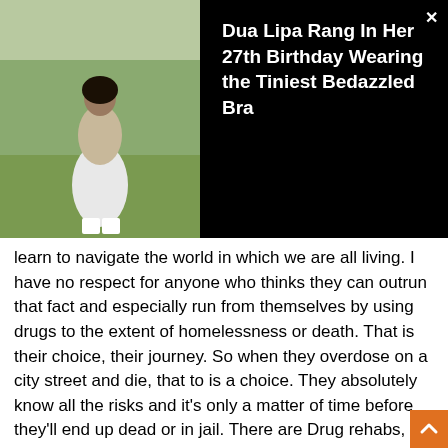[Figure (photo): A woman in white outfit and white platform shoes sitting outdoors on grass]
Dua Lipa Rang In Her 27th Birthday Wearing the Tiniest Bedazzled Bra
learn to navigate the world in which we are all living. I have no respect for anyone who thinks they can outrun that fact and especially run from themselves by using drugs to the extent of homelessness or death. That is their choice, their journey. So when they overdose on a city street and die, that to is a choice. They absolutely know all the risks and it's only a matter of time before they'll end up dead or in jail. There are Drug rehabs, city-run outreach programs... And no, they are not hard to find, they are just a phone call away... in fact, the one I am aware of in SB is right downtown on Haley street next to that park where they hang out. If someone wants to get help, they